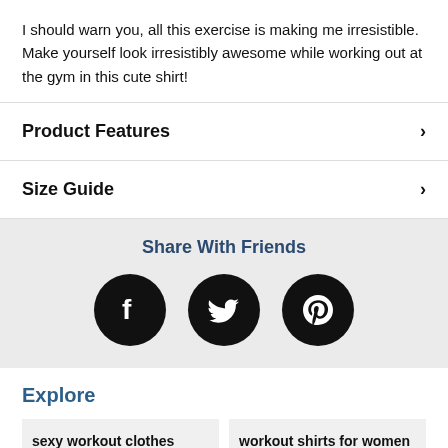I should warn you, all this exercise is making me irresistible. Make yourself look irresistibly awesome while working out at the gym in this cute shirt!
Product Features
Size Guide
Share With Friends
[Figure (infographic): Three social media share buttons: Facebook, Twitter, Pinterest as black circles with white icons]
Explore
sexy workout clothes
workout shirts for women